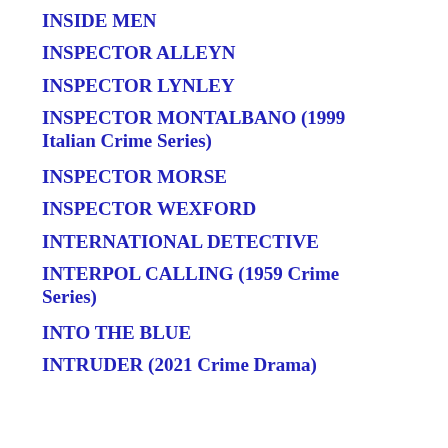INSIDE MEN
INSPECTOR ALLEYN
INSPECTOR LYNLEY
INSPECTOR MONTALBANO (1999 Italian Crime Series)
INSPECTOR MORSE
INSPECTOR WEXFORD
INTERNATIONAL DETECTIVE
INTERPOL CALLING (1959 Crime Series)
INTO THE BLUE
INTRUDER (2021 Crime Drama)